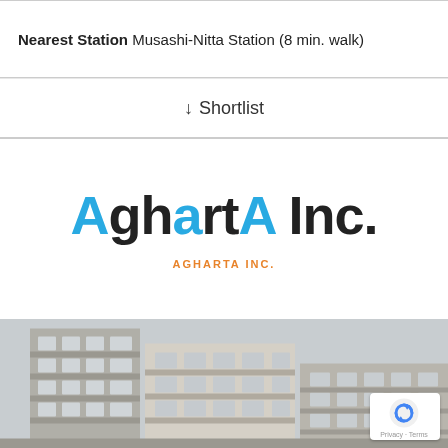Nearest Station Musashi-Nitta Station (8 min. walk)
↓ Shortlist
[Figure (logo): AghartA Inc. company logo in large sans-serif font with blue and black letters, with 'AGHARTA INC.' in orange small caps below]
[Figure (photo): Photo of a modern multi-story apartment building with balconies, light-colored facade, taken from street level against a pale sky]